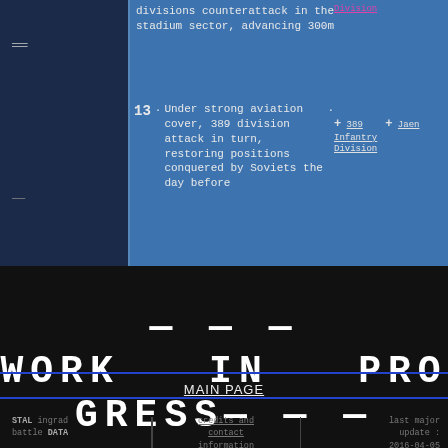divisions counterattack in the stadium sector, advancing 300m
13. Under strong aviation cover, 389 division attack in turn, restoring positions conquered by Soviets the day before
389 Infantry Division
+Jaen
---WORK IN PROGRESS---
MAIN PAGE
STAL ingrad battle DATA | credits and contact information | last major update : 2016-04-05